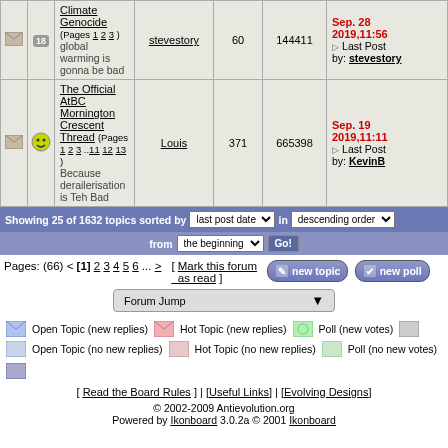|  |  | Topic | User | Replies | Views | Last Post |
| --- | --- | --- | --- | --- | --- | --- |
| [icon] | [18] | Climate Genocide (Pages 1 2 3) global warming is gonna be bad | stevestory | 60 | 144411 | Sep. 28 2019,11:56 Last Post by: stevestory |
| [icon] | [smiley] | The Official AtBC Mornington Crescent Thread (Pages 1 2 3 ..11 12 13) Because derailerisation is Teh Bad | Louis | 371 | 665398 | Sep. 19 2019,11:11 Last Post by: KevinB |
Showing 25 of 1632 topics sorted by last post date in descending order from the beginning Go!
Pages: (66) < [1] 2 3 4 5 6 ... > [ Mark this forum as read ]
Forum Jump
Open Topic (new replies)   Hot Topic (new replies)   Poll (new votes)
Open Topic (no new replies)   Hot Topic (no new replies)   Poll (no new votes)
[ Read the Board Rules ] | [Useful Links] | [Evolving Designs]
© 2002-2009 Antievolution.org Powered by Ikonboard 3.0.2a © 2001 Ikonboard